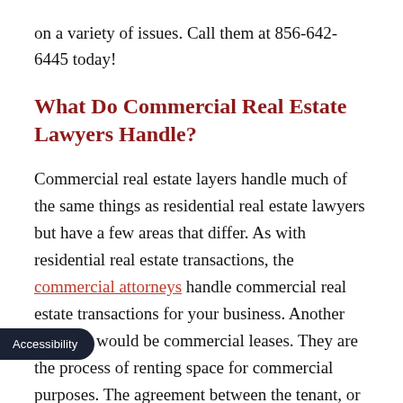on a variety of issues. Call them at 856-642-6445 today!
What Do Commercial Real Estate Lawyers Handle?
Commercial real estate layers handle much of the same things as residential real estate lawyers but have a few areas that differ. As with residential real estate transactions, the commercial attorneys handle commercial real estate transactions for your business. Another example would be commercial leases. They are the process of renting space for commercial purposes. The agreement between the tenant, or lessee, and lessor, usually includes many details about the property being rented as well as other terms. It’s important to work with a lawyer when making a commercial lease because it can